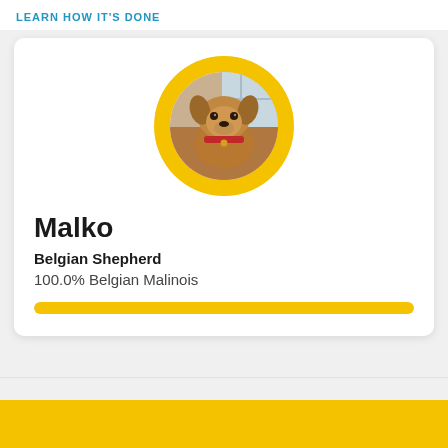LEARN HOW IT'S DONE
[Figure (photo): Profile card for a dog named Malko. A circular photo of a Belgian Malinois dog with a golden/amber coat and red collar, framed by a thick yellow ring. Below the photo: name 'Malko', breed label 'Belgian Shepherd', percentage '100.0% Belgian Malinois', and a full-width yellow progress bar.]
Malko
Belgian Shepherd
100.0% Belgian Malinois